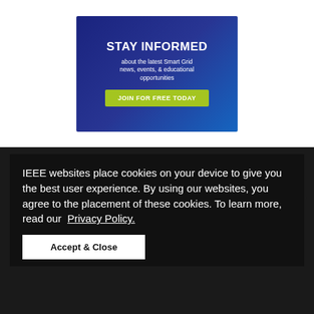[Figure (infographic): IEEE Smart Grid promotional banner on dark blue background with text 'STAY INFORMED about the latest Smart Grid news, events, & educational opportunities' and a green 'JOIN FOR FREE TODAY' button]
IEEE websites place cookies on your device to give you the best user experience. By using our websites, you agree to the placement of these cookies. To learn more, read our Privacy Policy.
Accept & Close
IEEE Smart Grid
Copyright 2022 IEEE. A not-for-profit organization, IEEE is the world's largest technical professional organization dedicated to advancing technology for the benefit of humanity.